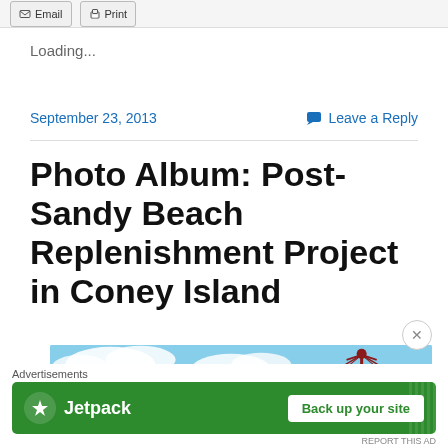Email  Print
Loading...
September 23, 2013   Leave a Reply
Photo Album: Post-Sandy Beach Replenishment Project in Coney Island
[Figure (photo): Partial photo of Coney Island beach showing blue sky with clouds and a red parachute jump tower structure]
Advertisements
[Figure (screenshot): Jetpack advertisement banner with green background showing logo and 'Back up your site' button]